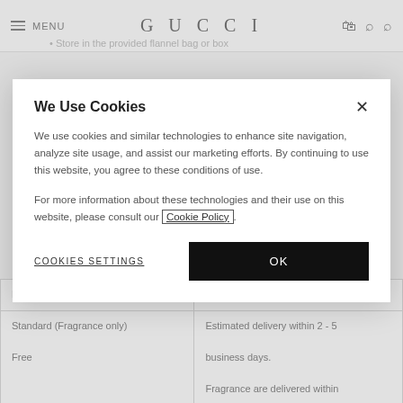GUCCI — Navigation bar with menu, logo, bag, location, and search icons
it immediately with a soft cloth
• Store in the provided flannel bag or box
We Use Cookies
We use cookies and similar technologies to enhance site navigation, analyze site usage, and assist our marketing efforts. By continuing to use this website, you agree to these conditions of use.
For more information about these technologies and their use on this website, please consult our Cookie Policy.
COOKIES SETTINGS
OK
| Free | business days. |
| Standard (Fragrance only)
Free | Estimated delivery within 2 - 5 business days.

Fragrance are delivered within the continental US only. |